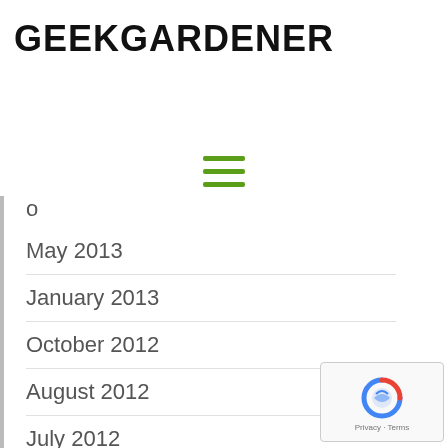GEEKGARDENER
[Figure (other): Hamburger menu icon with three green horizontal lines]
o
May 2013
January 2013
October 2012
August 2012
July 2012
June 2012
May 2012